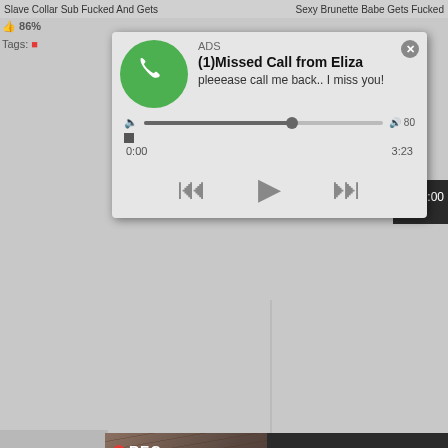Slave Collar Sub Fucked And Gets
Sexy Brunette Babe Gets Fucked
86%
Tags:
[Figure (screenshot): Ad popup: missed call notification with green phone icon, audio player with progress bar showing 0:00 and 3:23, playback controls (rewind, play, fast-forward). Text: ADS, (1)Missed Call from Eliza, pleeease call me back.. I miss you!]
5:00
89%
Blue H
89%
Tags:
[Figure (screenshot): Ad popup with dark background: left side shows woman taking selfie with REC badge and camera focus overlay. Right side text: ADS • Dating for men! Find bad girls here]
7:00